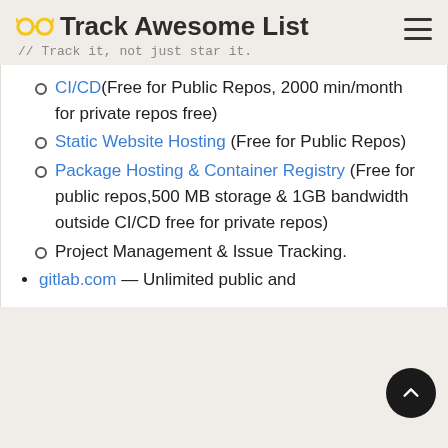Track Awesome List // Track it, not just star it.
CI/CD(Free for Public Repos, 2000 min/month for private repos free)
Static Website Hosting (Free for Public Repos)
Package Hosting & Container Registry (Free for public repos,500 MB storage & 1GB bandwidth outside CI/CD free for private repos)
Project Management & Issue Tracking.
gitlab.com — Unlimited public and